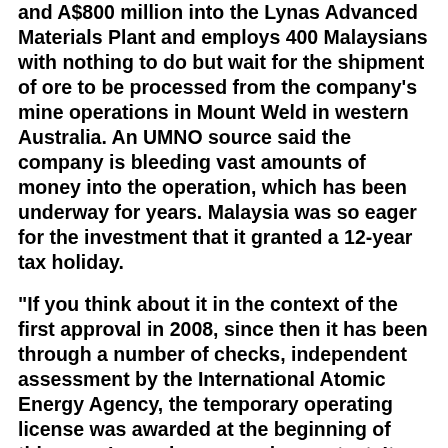and A$800 million into the Lynas Advanced Materials Plant and employs 400 Malaysians with nothing to do but wait for the shipment of ore to be processed from the company's mine operations in Mount Weld in western Australia. An UMNO source said the company is bleeding vast amounts of money into the operation, which has been underway for years. Malaysia was so eager for the investment that it granted a 12-year tax holiday.
“If you think about it in the context of the first approval in 2008, since then it has been through a number of checks, independent assessment by the International Atomic Energy Agency, the temporary operating license was awarded at the beginning of this year. Lynas has passed every test. It has been one excuse after another. It is justifiable that we are getting a little impatient,” the spokesman said. “Lynas has spent a significant amount of money, we are very committed to Malaysia but we can’t do anything without the license. It is ready to go, Lynas’s point of view is that we have invested in invested in good faith, we have been through everything that needs to be done.”